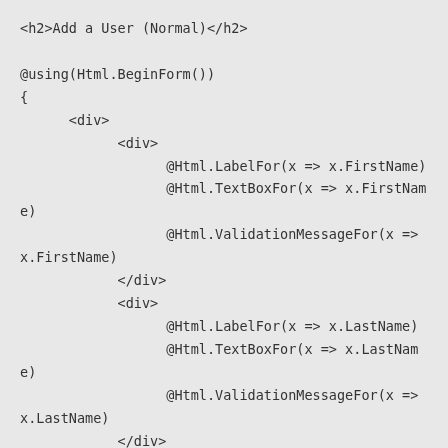<h2>Add a User (Normal)</h2>

@using(Html.BeginForm())
{
      <div>
            <div>
                  @Html.LabelFor(x => x.FirstName)
                  @Html.TextBoxFor(x => x.FirstName)
                  @Html.ValidationMessageFor(x =>
x.FirstName)
            </div>
            <div>
                  @Html.LabelFor(x => x.LastName)
                  @Html.TextBoxFor(x => x.LastName)
                  @Html.ValidationMessageFor(x =>
x.LastName)
            </div>
            <div>
                  @Html.LabelFor(x => x.DateOfBirth)
                  @Html.EditorFor(x => x.DateOfBirth)
                  @Html.ValidationMessageFor(x =>
x.DateOfBirth)